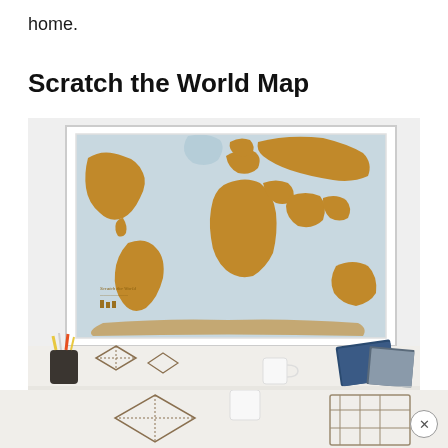home.
Scratch the World Map
[Figure (photo): A scratch-off world map poster mounted on a white wall above a desk. The map shows golden/bronze scratch-off areas revealing countries visited, with light blue oceans. Below the framed map is a desk scene with pencil holders, geometric wire decorations, a mug, and other desk accessories.]